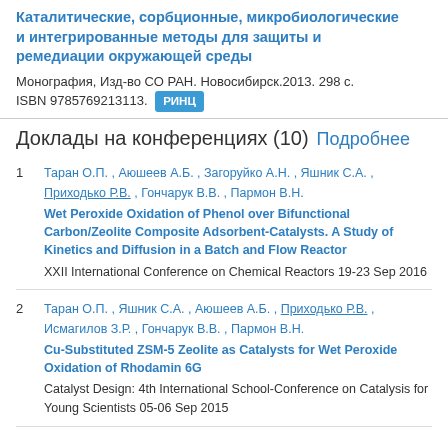Каталитические, сорбционные, микробиологические и интегрированные методы для защиты и ремедиации окружающей среды
Монография, Изд-во СО РАН. Новосибирск.2013. 298 с. ISBN 9785769213113. РИНЦ
Доклады на конференциях (10) Подробнее
1. Таран О.П., Аюшеев А.Б., Загоруйко А.Н., Яшник С.А., Приходько Р.В., Гончарук В.В., Пармон В.Н. Wet Peroxide Oxidation of Phenol over Bifunctional Carbon/Zeolite Composite Adsorbent-Catalysts. A Study of Kinetics and Diffusion in a Batch and Flow Reactor. XXII International Conference on Chemical Reactors 19-23 Sep 2016
2. Таран О.П., Яшник С.А., Аюшеев А.Б., Приходько Р.В., Исмагилов З.Р., Гончарук В.В., Пармон В.Н. Cu-Substituted ZSM-5 Zeolite as Catalysts for Wet Peroxide Oxidation of Rhodamin 6G. Catalyst Design: 4th International School-Conference on Catalysis for Young Scientists 05-06 Sep 2015